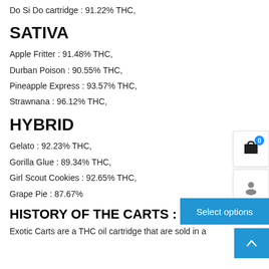Do Si Do cartridge : 91.22% THC,
SATIVA
Apple Fritter : 91.48% THC,
Durban Poison : 90.55% THC,
Pineapple Express : 93.57% THC,
Strawnana : 96.12% THC,
HYBRID
Gelato : 92.23% THC,
Gorilla Glue : 89.34% THC,
Girl Scout Cookies : 92.65% THC,
Grape Pie : 87.67%
HISTORY OF THE CARTS :
Exotic Carts are a THC oil cartridge that are sold in a